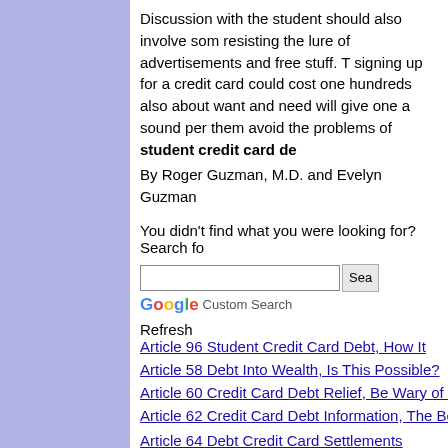Discussion with the student should also involve some resisting the lure of advertisements and free stuff. T signing up for a credit card could cost one hundreds also about want and need will give one a sound per them avoid the problems of student credit card de
By Roger Guzman, M.D. and Evelyn Guzman
You didn't find what you were looking for? Search fo
Refresh Article 96 Student Credit Card Debt, How It
Article 58 Debt Into Wealth, Is This Possible?
Article 60 Credit Card Debt Relief, Be Wary of Sca
Article 62 Credit Card Debt Information, The Best W
Article 64 Debt Credit Card Settlements